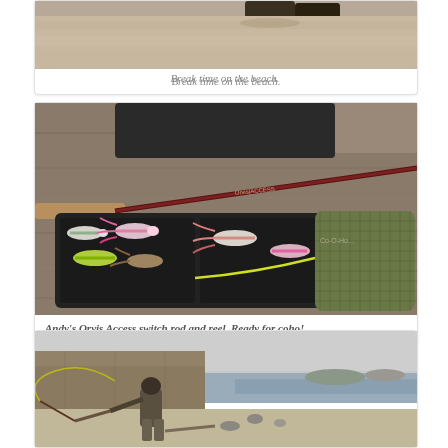[Figure (photo): Cropped photo showing sandy beach with feet/shoes visible at top, sand in foreground]
Break time on the beach.
[Figure (photo): Photo of Andy's Orvis Access switch rod and reel with fly box containing colorful saltwater flies on a wooden surface, with a green mesh reel case visible]
Andy's Orvis Access switch rod and reel. Ready for coho!
[Figure (photo): Person fishing on a rocky/sandy beach shoreline with a cliff behind them and water/islands visible in the background, casting a fly rod]